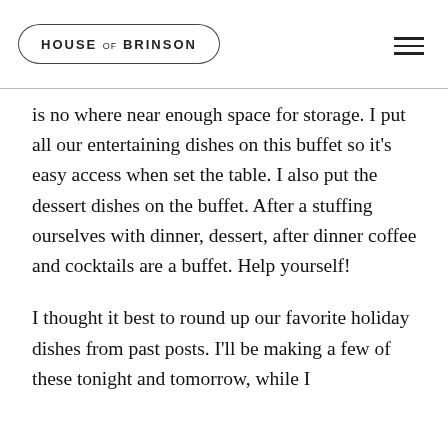HOUSE OF BRINSON
is no where near enough space for storage. I put all our entertaining dishes on this buffet so it's easy access when set the table. I also put the dessert dishes on the buffet. After a stuffing ourselves with dinner, dessert, after dinner coffee and cocktails are a buffet. Help yourself!
I thought it best to round up our favorite holiday dishes from past posts. I'll be making a few of these tonight and tomorrow, while I